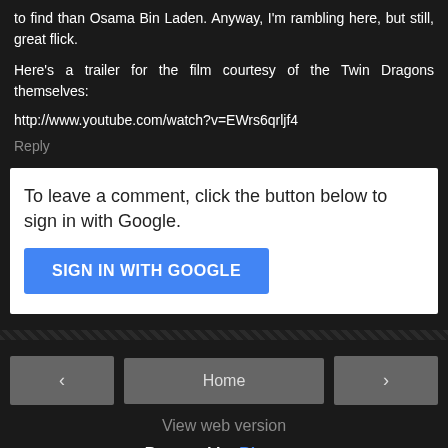to find than Osama Bin Laden. Anyway, I'm rambling here, but still, great flick.
Here's a trailer for the film courtesy of the Twin Dragons themselves:
http://www.youtube.com/watch?v=EWrs6qrljf4
Reply
To leave a comment, click the button below to sign in with Google.
[Figure (screenshot): Blue 'SIGN IN WITH GOOGLE' button]
Home
View web version
Powered by Blogger.